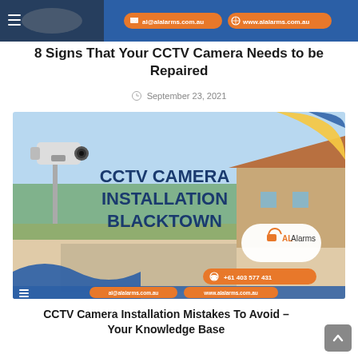[Figure (screenshot): Top website header banner with blue background, hamburger menu on left, and two orange pill buttons: 'al@alalarms.com.au' and 'www.alalarms.com.au' on the right, with a partial camera image in the background.]
8 Signs That Your CCTV Camera Needs to be Repaired
September 23, 2021
[Figure (photo): CCTV Camera Installation Blacktown advertisement image. Shows a CCTV camera mounted on a pole on the left, a suburban street with houses and green trees in the background, bold blue text 'CCTV CAMERA INSTALLATION BLACKTOWN' on right side, AL Alarms logo in white rounded rectangle, orange phone pill '+61 403 577 431', orange email pill 'al@alalarms.com.au', orange website pill 'www.alalarms.com.au', blue/white wave design at bottom, yellow swoosh accent at top right.]
CCTV Camera Installation Mistakes To Avoid – Your Knowledge Base